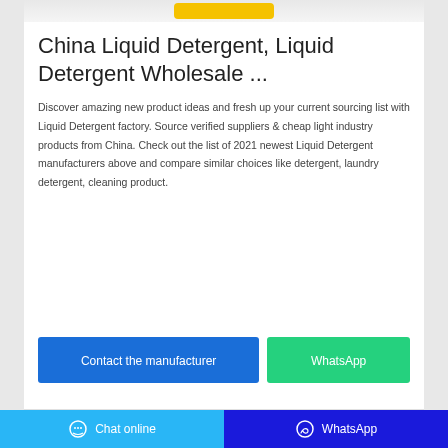[Figure (photo): Partial top image of a liquid detergent product with yellow cap visible]
China Liquid Detergent, Liquid Detergent Wholesale ...
Discover amazing new product ideas and fresh up your current sourcing list with Liquid Detergent factory. Source verified suppliers & cheap light industry products from China. Check out the list of 2021 newest Liquid Detergent manufacturers above and compare similar choices like detergent, laundry detergent, cleaning product.
[Figure (illustration): Contact the manufacturer (blue button) and WhatsApp (green button) call-to-action buttons]
[Figure (photo): Partial bottom image of another liquid detergent product]
Chat online   WhatsApp